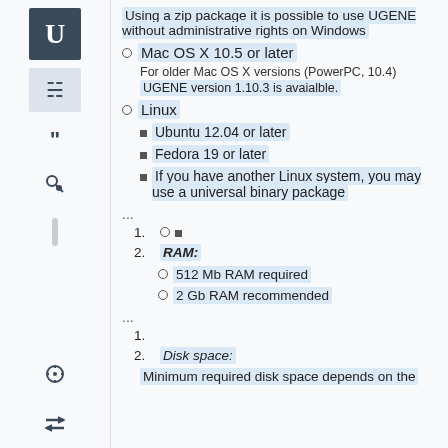Using a zip package it is possible to use UGENE without administrative rights on Windows
Mac OS X 10.5 or later
For older Mac OS X versions (PowerPC, 10.4) UGENE version 1.10.3 is avaialble.
Linux
Ubuntu 12.04 or later
Fedora 19 or later
If you have another Linux system, you may use a universal binary package
...
2. RAM:
512 Mb RAM required
2 Gb RAM recommended
...
2. Disk space:
Minimum required disk space depends on the